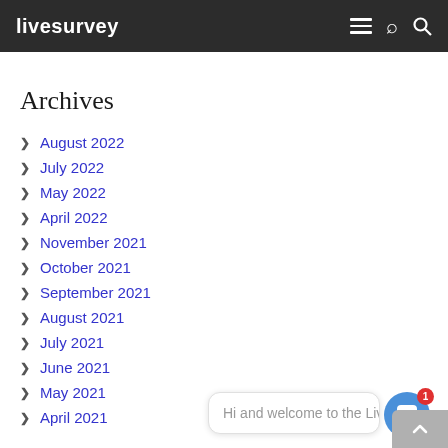livesurvey
Archives
August 2022
July 2022
May 2022
April 2022
November 2021
October 2021
September 2021
August 2021
July 2021
June 2021
May 2021
April 2021
Hi and welcome to the LiveS...